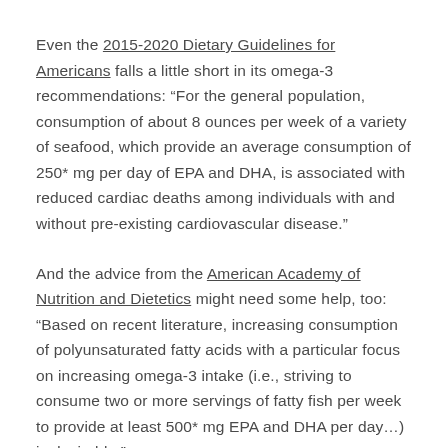Even the 2015-2020 Dietary Guidelines for Americans falls a little short in its omega-3 recommendations: “For the general population, consumption of about 8 ounces per week of a variety of seafood, which provide an average consumption of 250* mg per day of EPA and DHA, is associated with reduced cardiac deaths among individuals with and without pre-existing cardiovascular disease.”
And the advice from the American Academy of Nutrition and Dietetics might need some help, too: “Based on recent literature, increasing consumption of polyunsaturated fatty acids with a particular focus on increasing omega-3 intake (i.e., striving to consume two or more servings of fatty fish per week to provide at least 500* mg EPA and DHA per day…) is desirable.”